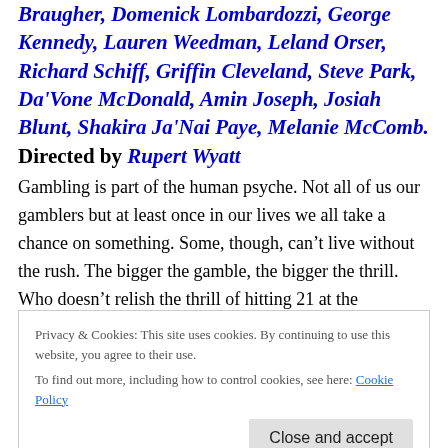Braugher, Domenick Lombardozzi, George Kennedy, Lauren Weedman, Leland Orser, Richard Schiff, Griffin Cleveland, Steve Park, Da'Vone McDonald, Amin Joseph, Josiah Blunt, Shakira Ja'Nai Paye, Melanie McComb. Directed by Rupert Wyatt
Gambling is part of the human psyche. Not all of us our gamblers but at least once in our lives we all take a chance on something. Some, though, can't live without the rush. The bigger the gamble, the bigger the thrill. Who doesn't relish the thrill of hitting 21 at the blackjack table when you've put your entire bankroll in, or of hearing that
Privacy & Cookies: This site uses cookies. By continuing to use this website, you agree to their use.
To find out more, including how to control cookies, see here: Cookie Policy
of money he can get his hands on – usually borrowed